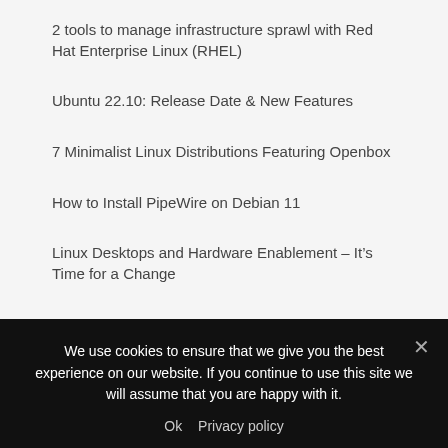2 tools to manage infrastructure sprawl with Red Hat Enterprise Linux (RHEL)
Ubuntu 22.10: Release Date & New Features
7 Minimalist Linux Distributions Featuring Openbox
How to Install PipeWire on Debian 11
Linux Desktops and Hardware Enablement – It's Time for a Change
Ubuntu 22.10: Top New Features and Release Wiki
DebugPoint Weekly Roundup #09-09: Linux Birthday, Earn...
We use cookies to ensure that we give you the best experience on our website. If you continue to use this site we will assume that you are happy with it.
Ok   Privacy policy